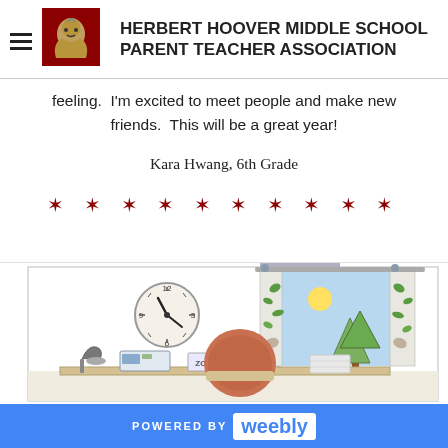HERBERT HOOVER MIDDLE SCHOOL PARENT TEACHER ASSOCIATION
feeling.  I'm excited to meet people and make new friends.  This will be a great year!
Kara Hwang, 6th Grade
* * * * * * * * * *
[Figure (illustration): A hand-drawn illustration of a child sitting at a desk viewed from behind, with a clock on the wall showing approximately 2:40, a window with curtains and a tree visible outside, a desk lamp, and books.]
POWERED BY weebly